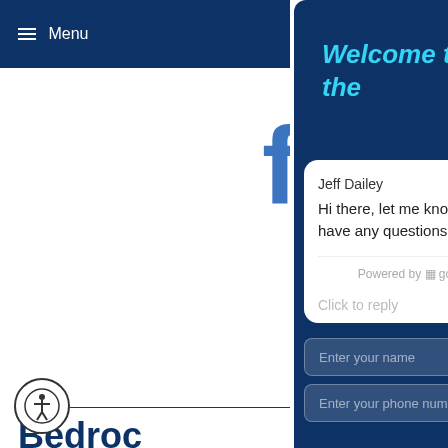≡ Menu
Bedroo
Browse through categories spe safety items, m packages, un sheets and pil more!
Welcome to the
Jeff Dailey
Hi there, let me know if you have any questions :)
Powered by gorgias
Click to reply
Enter your name
Enter your phone number